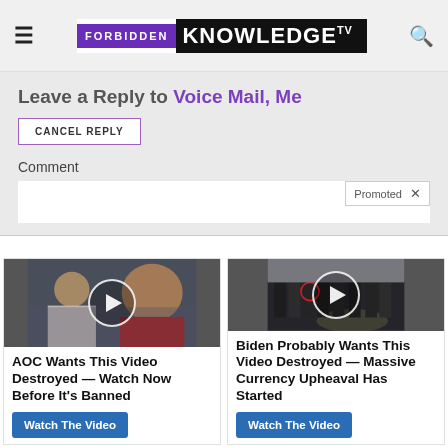Forbidden Knowledge TV
Leave a Reply to Voice Mail, Me
CANCEL REPLY
Comment
Promoted
[Figure (photo): Photo of a woman and man, video thumbnail with play button overlay]
AOC Wants This Video Destroyed — Watch Now Before It's Banned
Watch The Video
[Figure (photo): Photo of group of men in suits, video thumbnail with play button overlay]
Biden Probably Wants This Video Destroyed — Massive Currency Upheaval Has Started
Watch The Video